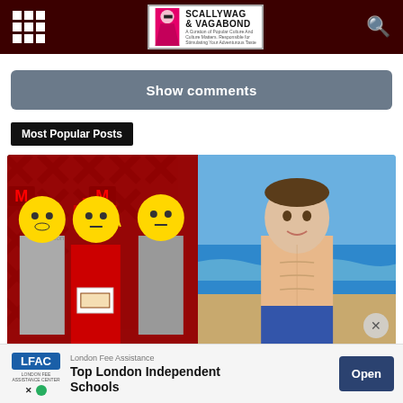Scallywag & Vagabond
Show comments
Most Popular Posts
[Figure (photo): Two-panel image: left panel shows a graduation photo with three people, two with emoji faces covering their identities, one in red graduation cap and gown holding a diploma in front of a red and white banner backdrop. Right panel shows a shirtless young man at a beach with ocean and blue sky in the background.]
London Fee Assistance
Top London Independent Schools
Open